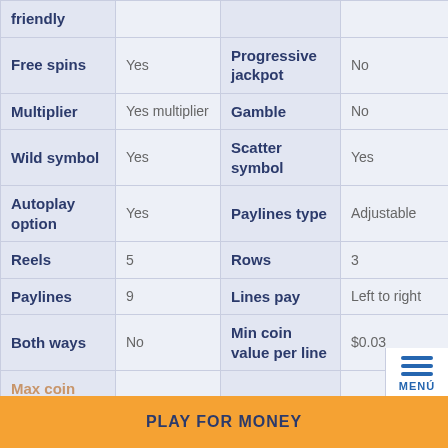| Feature | Value | Feature | Value |
| --- | --- | --- | --- |
| friendly |  |  |  |
| Free spins | Yes | Progressive jackpot | No |
| Multiplier | Yes multiplier | Gamble | No |
| Wild symbol | Yes | Scatter symbol | Yes |
| Autoplay option | Yes | Paylines type | Adjustable |
| Reels | 5 | Rows | 3 |
| Paylines | 9 | Lines pay | Left to right |
| Both ways | No | Min coin value per line | $0.03 |
| Max coin value per line | $5 | Min bet | 1 |
PLAY FOR MONEY